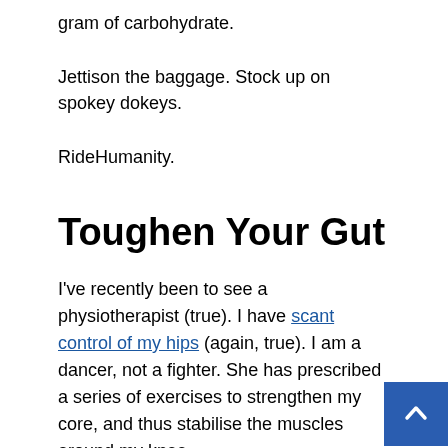gram of carbohydrate.
Jettison the baggage. Stock up on spokey dokeys.
RideHumanity.
Toughen Your Gut
I've recently been to see a physiotherapist (true). I have scant control of my hips (again, true). I am a dancer, not a fighter. She has prescribed a series of exercises to strengthen my core, and thus stabilise the muscles around my knee.
My view (and remember that I'm blue-skying brainsharting in search of each insubstantial gain) is that should consider strengthening our core, both inside and